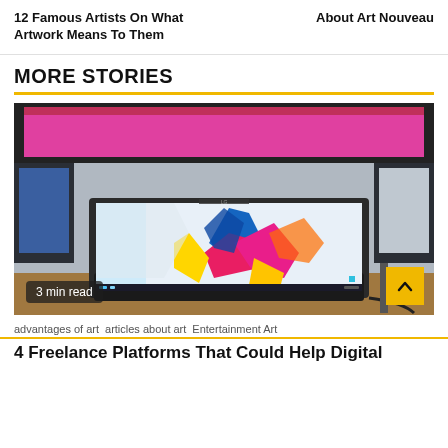12 Famous Artists On What Artwork Means To Them
About Art Nouveau
MORE STORIES
[Figure (photo): A laptop computer with a colorful abstract splash art wallpaper displayed on its screen, photographed in a technology store setting with monitors in the background. A '3 min read' badge is visible in the lower left, and a yellow scroll-to-top button in the lower right.]
advantages of art  articles about art  Entertainment Art
4 Freelance Platforms That Could Help Digital